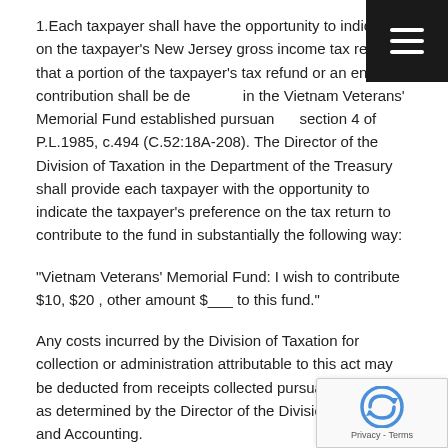1.Each taxpayer shall have the opportunity to indicate on the taxpayer's New Jersey gross income tax return that a portion of the taxpayer's tax refund or an enclosed contribution shall be deposited in the Vietnam Veterans' Memorial Fund established pursuant to section 4 of P.L.1985, c.494 (C.52:18A-208). The Director of the Division of Taxation in the Department of the Treasury shall provide each taxpayer with the opportunity to indicate the taxpayer's preference on the tax return to contribute to the fund in substantially the following way:
“Vietnam Veterans’ Memorial Fund: I wish to contribute $10, $20 , other amount $___ to this fund.”
Any costs incurred by the Division of Taxation for collection or administration attributable to this act may be deducted from receipts collected pursuant to this act, as determined by the Director of the Division of Budget and Accounting.
The State Treasurer shall deposit net contributions collected